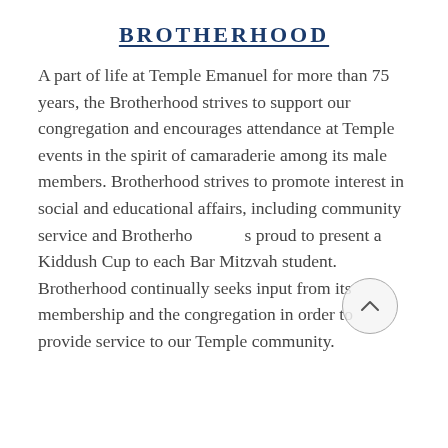BROTHERHOOD
A part of life at Temple Emanuel for more than 75 years, the Brotherhood strives to support our congregation and encourages attendance at Temple events in the spirit of camaraderie among its male members. Brotherhood strives to promote interest in social and educational affairs, including community service and Brotherhood is proud to present a Kiddush Cup to each Bar Mitzvah student. Brotherhood continually seeks input from its membership and the congregation in order to provide service to our Temple community.